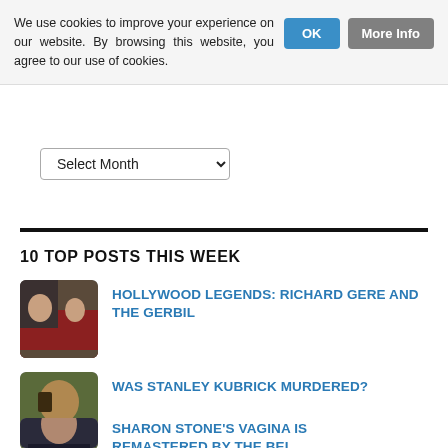We use cookies to improve your experience on our website. By browsing this website, you agree to our use of cookies.
Select Month
10 TOP POSTS THIS WEEK
HOLLYWOOD LEGENDS: RICHARD GERE AND THE GERBIL
WAS STANLEY KUBRICK MURDERED?
SHARON STONE'S VAGINA IS REMASTERED BY THE BEL…